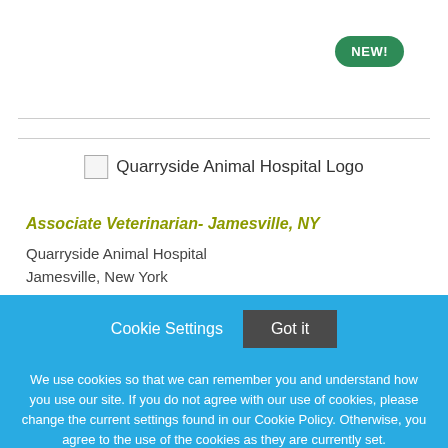[Figure (logo): NEW! badge - green rounded pill with white bold text]
[Figure (logo): Quarryside Animal Hospital Logo - broken image placeholder with text]
Associate Veterinarian- Jamesville, NY
Quarryside Animal Hospital
Jamesville, New York
Cookie Settings  Got it
We use cookies so that we can remember you and understand how you use our site. If you do not agree with our use of cookies, please change the current settings found in our Cookie Policy. Otherwise, you agree to the use of the cookies as they are currently set.